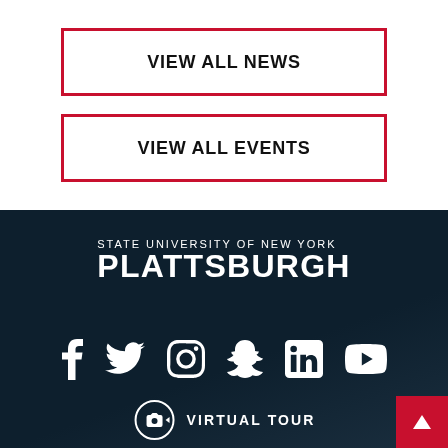VIEW ALL NEWS
VIEW ALL EVENTS
[Figure (logo): State University of New York Plattsburgh logo with social media icons (Facebook, Twitter, Instagram, Snapchat, LinkedIn, YouTube) and a Virtual Tour button on a dark navy background.]